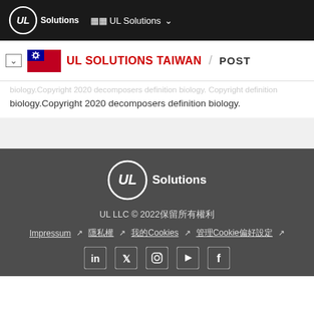UL Solutions
UL SOLUTIONS TAIWAN / POST
biology.Copyright 2020 decomposers definition biology.
[Figure (logo): UL Solutions logo in white on dark footer background]
UL LLC © 2022保留所有權利
Impressum  隱私權  我的Cookies  管理Cookie偏好設定